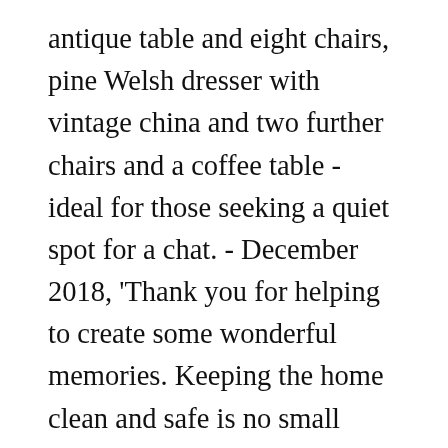antique table and eight chairs, pine Welsh dresser with vintage china and two further chairs and a coffee table - ideal for those seeking a quiet spot for a chat. - December 2018, 'Thank you for helping to create some wonderful memories. Keeping the home clean and safe is no small task, which is why the role of Housekeeping Assistant is so important. distance to Tesco Superstore and to the Pub / Restaurant 'Black Horse'.Decorated in a warm retro style, family friendly house with all needed equipment for kids (like cot or high chair). Now in ruins, the 'old' castle used to be the favourite home of famous explorer Sir Walter Ralegh and is a tranquil, romantic spot to spend the afternoon. When you reserve